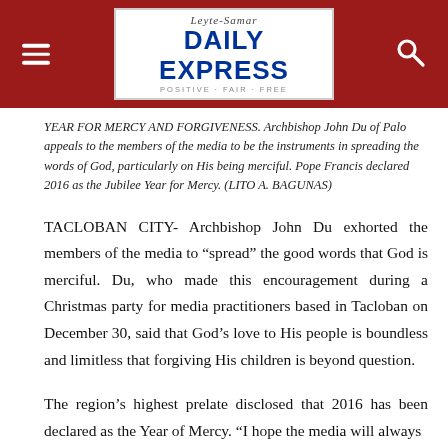Leyte-Samar Daily Express
YEAR FOR MERCY AND FORGIVENESS. Archbishop John Du of Palo appeals to the members of the media to be the instruments in spreading the words of God, particularly on His being merciful. Pope Francis declared 2016 as the Jubilee Year for Mercy. (LITO A. BAGUNAS)
TACLOBAN CITY- Archbishop John Du exhorted the members of the media to “spread” the good words that God is merciful. Du, who made this encouragement during a Christmas party for media practitioners based in Tacloban on December 30, said that God’s love to His people is boundless and limitless that forgiving His children is beyond question.
The region's highest prelate disclosed that 2016 has been declared as the Year of Mercy. “I hope the media will always